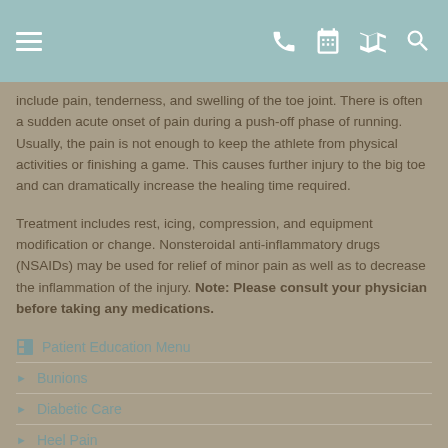Navigation header with menu, phone, calendar, map, and search icons
include pain, tenderness, and swelling of the toe joint. There is often a sudden acute onset of pain during a push-off phase of running. Usually, the pain is not enough to keep the athlete from physical activities or finishing a game. This causes further injury to the big toe and can dramatically increase the healing time required.
Treatment includes rest, icing, compression, and equipment modification or change. Nonsteroidal anti-inflammatory drugs (NSAIDs) may be used for relief of minor pain as well as to decrease the inflammation of the injury. Note: Please consult your physician before taking any medications.
Patient Education Menu
Bunions
Diabetic Care
Heel Pain